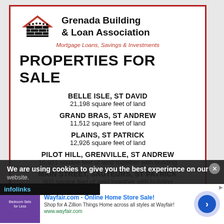[Figure (logo): Grenada Building & Loan Association logo with house/brick wall silhouette icon]
Grenada Building & Loan Association
Mortgage Loans, Savings & Investments
PROPERTIES FOR SALE
BELLE ISLE, ST DAVID
21,198 square feet of land
GRAND BRAS, ST ANDREW
11,512 square feet of land
PLAINS, ST PATRICK
12,926 square feet of land
PILOT HILL, GRENVILLE, ST ANDREW
10,921 square feet of land together with building
MAIN STREET, SAUTEURS, ST PATRICK
900 square feet of land together with building